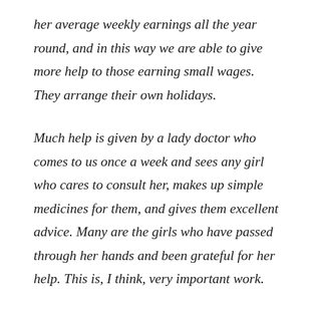her average weekly earnings all the year round, and in this way we are able to give more help to those earning small wages. They arrange their own holidays.
Much help is given by a lady doctor who comes to us once a week and sees any girl who cares to consult her, makes up simple medicines for them, and gives them excellent advice. Many are the girls who have passed through her hands and been grateful for her help. This is, I think, very important work.